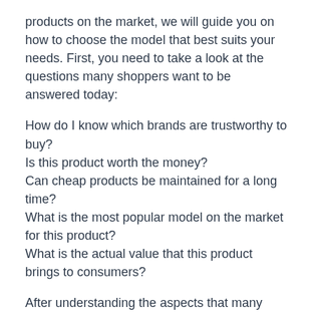products on the market, we will guide you on how to choose the model that best suits your needs. First, you need to take a look at the questions many shoppers want to be answered today:
How do I know which brands are trustworthy to buy?
Is this product worth the money?
Can cheap products be maintained for a long time?
What is the most popular model on the market for this product?
What is the actual value that this product brings to consumers?
After understanding the aspects that many shoppers care about and wonder about Best Closet Gun Safe, we believe you are now supposed to be ready to focus on the buying guide below to pick the best model for your demands: